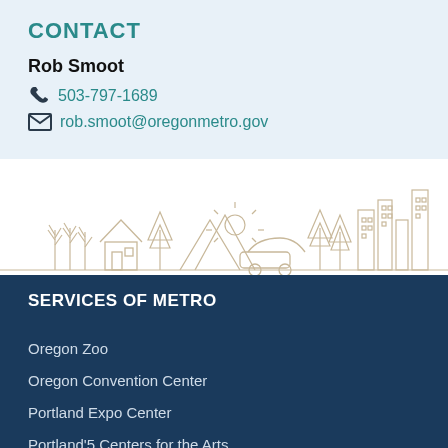CONTACT
Rob Smoot
503-797-1689
rob.smoot@oregonmetro.gov
[Figure (illustration): Line drawing illustration of a city skyline with nature elements including trees, mountains, sun rays, a car, and buildings in a light beige/white outline style on white background.]
SERVICES OF METRO
Oregon Zoo
Oregon Convention Center
Portland Expo Center
Portland'5 Centers for the Arts
Data Resource Center